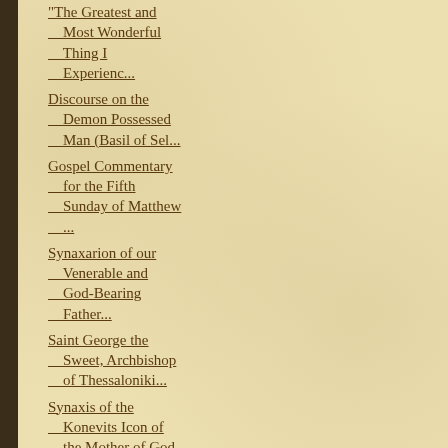"The Greatest and Most Wonderful Thing I Experienc...
Discourse on the Demon Possessed Man (Basil of Sel...
Gospel Commentary for the Fifth Sunday of Matthew ...
Synaxarion of our Venerable and God-Bearing Father...
Saint George the Sweet, Archbishop of Thessaloniki...
Synaxis of the Konevits Icon of the Mother of God
The Placing of the Honorable Robe of the Lord at M...